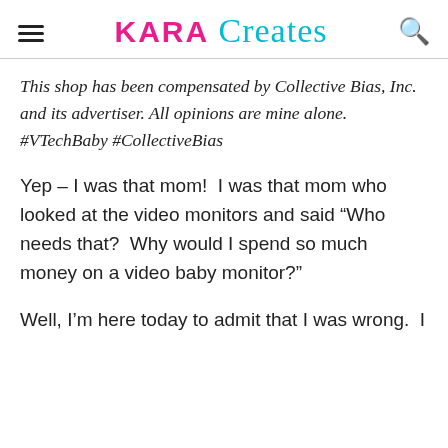KARA Creates
This shop has been compensated by Collective Bias, Inc. and its advertiser. All opinions are mine alone. #VTechBaby #CollectiveBias
Yep – I was that mom!  I was that mom who looked at the video monitors and said “Who needs that?  Why would I spend so much money on a video baby monitor?”
Well, I’m here today to admit that I was wrong.  I